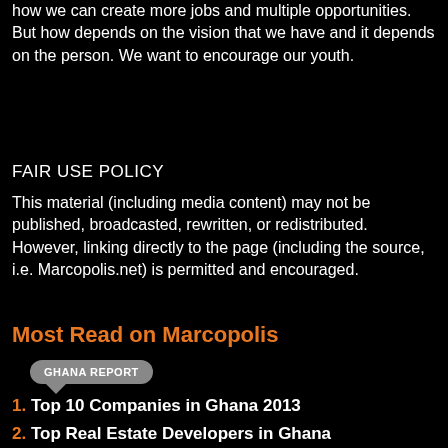how we can create more jobs and multiple opportunities. But how depends on the vision that we have and it depends on the person. We want to encourage our youth.
FAIR USE POLICY
This material (including media content) may not be published, broadcasted, rewritten, or redistributed. However, linking directly to the page (including the source, i.e. Marcopolis.net) is permitted and encouraged.
Most Read on Marcopolis
GHANA REPORT
1. Top 10 Companies in Ghana 2013
2. Top Real Estate Developers in Ghana
3. Kasapreko: Leading Alcoholic Beverage Company in